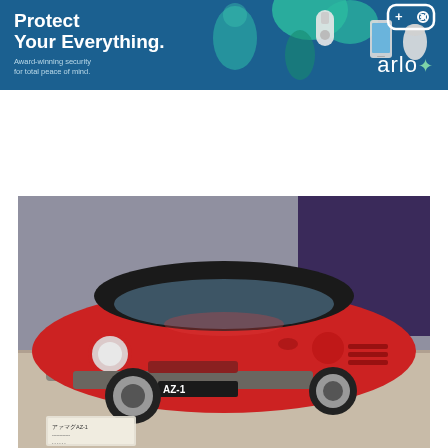[Figure (illustration): Arlo security products advertisement banner with teal/blue background. Shows 'Protect Your Everything.' headline, 'Award-winning security for total peace of mind.' subtext, a Shop Now button, and images of a doorbell camera, smartphone, smart camera, and the Arlo logo with a game controller icon.]
[Figure (photo): A red Mazda/Autozam AZ-1 kei sports car on display in a showroom or museum, with a black hardtop roof, distinctive round headlights, hood scoop, and an information placard visible in the foreground. The car has an AZ-1 badge on the front bumper.]